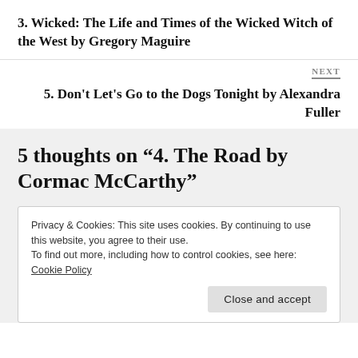3. Wicked: The Life and Times of the Wicked Witch of the West by Gregory Maguire
NEXT
5. Don't Let's Go to the Dogs Tonight by Alexandra Fuller
5 thoughts on “4. The Road by Cormac McCarthy”
Privacy & Cookies: This site uses cookies. By continuing to use this website, you agree to their use.
To find out more, including how to control cookies, see here: Cookie Policy
Close and accept